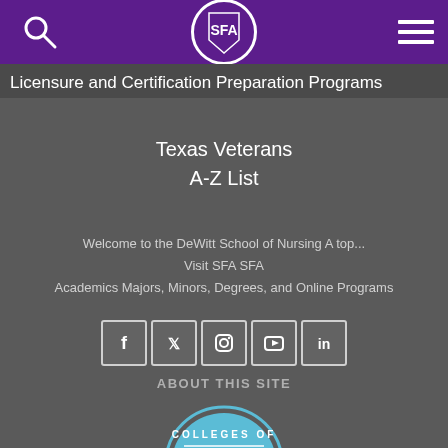[Figure (screenshot): SFA university website navigation bar with search icon, SFA logo, and hamburger menu on purple background]
Licensure and Certification Preparation Programs
Texas Veterans
A-Z List
Welcome to the DeWitt School of Nursing A top...
Visit SFA SFA
Academics Majors, Minors, Degrees, and Online Programs
[Figure (infographic): Social media icons: Facebook, Twitter, Instagram, YouTube, LinkedIn]
ABOUT THIS SITE
[Figure (logo): Colleges Of badge/seal partially visible at bottom of page]